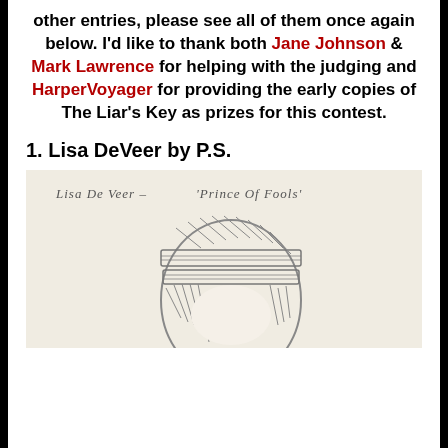other entries, please see all of them once again below. I'd like to thank both Jane Johnson & Mark Lawrence for helping with the judging and HarperVoyager for providing the early copies of The Liar's Key as prizes for this contest.
1. Lisa DeVeer by P.S.
[Figure (photo): Pencil drawing of Lisa De Veer - Prince of Fools, showing a head with hatched hair and bandages]